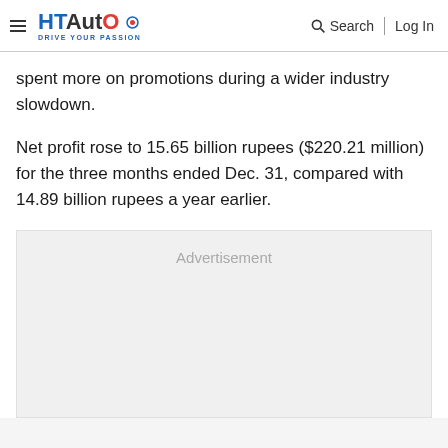HT Auto — Drive Your Passion | Search | Log In
spent more on promotions during a wider industry slowdown.
Net profit rose to 15.65 billion rupees ($220.21 million) for the three months ended Dec. 31, compared with 14.89 billion rupees a year earlier.
[Figure (other): Advertisement placeholder box]